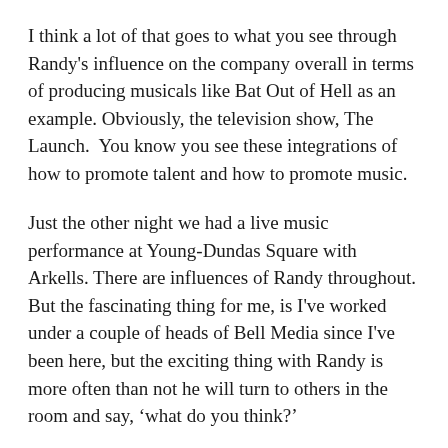I think a lot of that goes to what you see through Randy's influence on the company overall in terms of producing musicals like Bat Out of Hell as an example. Obviously, the television show, The Launch.  You know you see these integrations of how to promote talent and how to promote music.
Just the other night we had a live music performance at Young-Dundas Square with Arkells. There are influences of Randy throughout. But the fascinating thing for me, is I've worked under a couple of heads of Bell Media since I've been here, but the exciting thing with Randy is more often than not he will turn to others in the room and say, ‘what do you think?’
For someone like me, it’s too cool. I mean it’s just cool to have someone turn to someone that you look at with high regard and someone that's done a lot of great things in this business, and so enjoy it. And for someone like that to turn